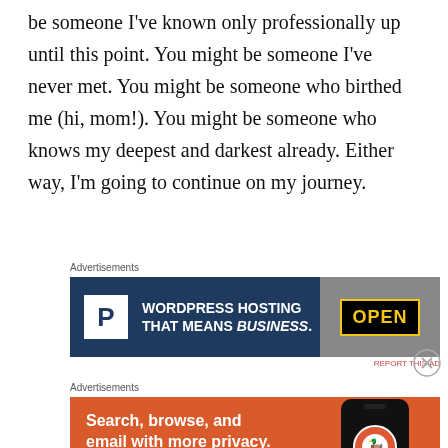be someone I've known only professionally up until this point. You might be someone I've never met. You might be someone who birthed me (hi, mom!). You might be someone who knows my deepest and darkest already. Either way, I'm going to continue on my journey.
Advertisements
[Figure (infographic): WordPress Hosting advertisement banner with dark navy background showing a P logo, text 'WORDPRESS HOSTING THAT MEANS BUSINESS.' and an OPEN sign image on the right]
Advertisements
[Figure (infographic): DuckDuckGo advertisement banner with orange background showing text 'Search, browse, and email with more privacy. All in One Free App' with a phone image showing the DuckDuckGo logo]